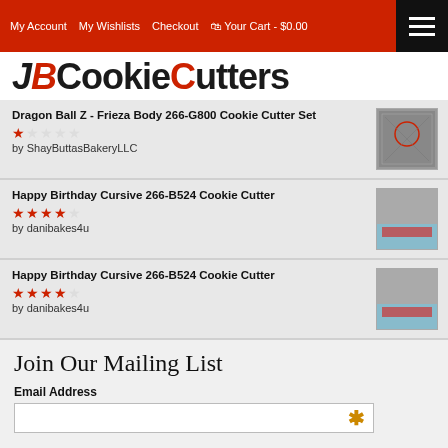My Account | My Wishlists | Checkout | Your Cart - $0.00
JBCookieCutters
Dragon Ball Z - Frieza Body 266-G800 Cookie Cutter Set — 1 star — by ShayButtasBakeryLLC
Happy Birthday Cursive 266-B524 Cookie Cutter — 4 stars — by danibakes4u
Happy Birthday Cursive 266-B524 Cookie Cutter — 4 stars — by danibakes4u
Join Our Mailing List
Email Address